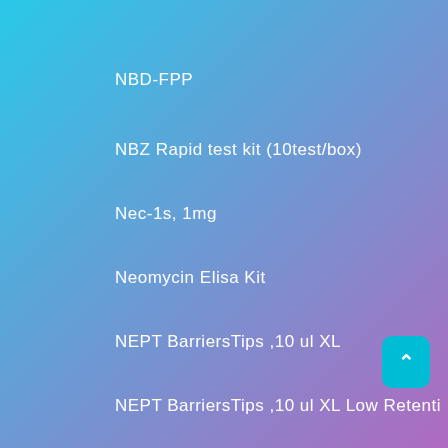NBD-FPP
NBZ Rapid test kit (10test/box)
Nec-1s, 1mg
Neomycin Elisa Kit
NEPT BarriersTips ,10 ul XL
NEPT BarriersTips ,10 ul XL Low Retenti
NEPTUNE BarriersTips ,10 ul Low Retentio